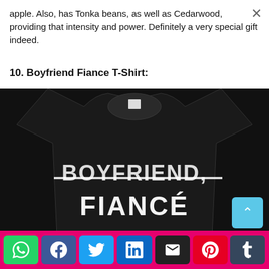apple. Also, has Tonka beans, as well as Cedarwood, providing that intensity and power. Definitely a very special gift indeed.
10. Boyfriend Fiance T-Shirt:
[Figure (photo): Black t-shirt with strikethrough text 'BOYFRIEND,' and large white text 'FIANCÉ' below it]
[Figure (infographic): Social media share button bar with WhatsApp, Facebook, Twitter, LinkedIn, Email, Pinterest, and Tumblr buttons on a pink/magenta background]